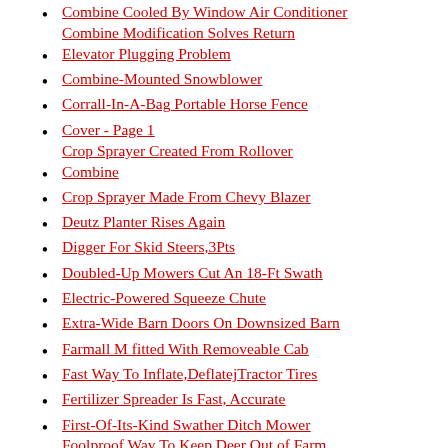Combine Cooled By Window Air Conditioner Combine Modification Solves Return
Elevator Plugging Problem
Combine-Mounted Snowblower
Corrall-In-A-Bag Portable Horse Fence
Cover - Page 1
Crop Sprayer Created From Rollover Combine
Crop Sprayer Made From Chevy Blazer
Deutz Planter Rises Again
Digger For Skid Steers,3Pts
Doubled-Up Mowers Cut An 18-Ft Swath
Electric-Powered Squeeze Chute
Extra-Wide Barn Doors On Downsized Barn
Farmall M fitted With Removeable Cab
Fast Way To Inflate,DeflatejTractor Tires
Fertilizer Spreader Is Fast, Accurate
First-Of-Its-Kind Swather Ditch Mower Foolproof Way To Keep Deer Out of Farm Crops
Gas Engine Powers Portable Drill Press
Gate Jumper For Electric Fence
Gravity Wagon Equipped With Belt Conveyor
Half-Scale 8 HJp Pickup
Hawk Bird Scarer